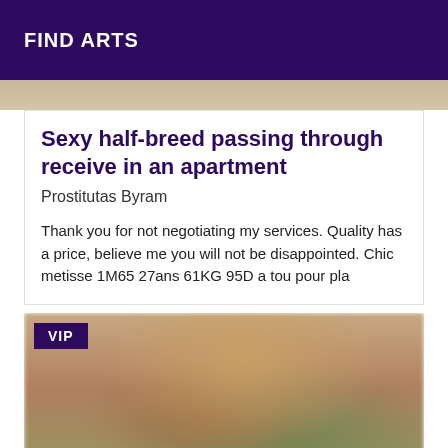FIND ARTS
[Figure (photo): Partial top of a blurred photo visible above the listing card]
Sexy half-breed passing through receive in an apartment
Prostitutas Byram
Thank you for not negotiating my services. Quality has a price, believe me you will not be disappointed. Chic metisse 1M65 27ans 61KG 95D a tou pour pla
[Figure (photo): Blurred photo of a person with a VIP badge in the top-left corner]